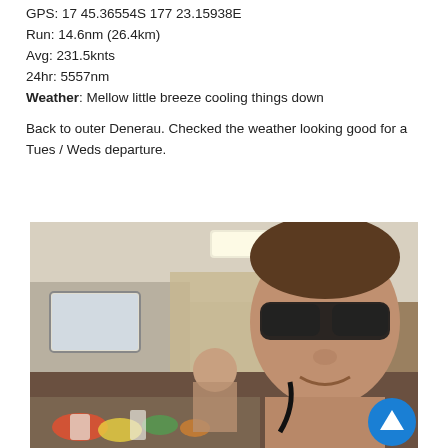GPS: 17 45.36554S 177 23.15938E
Run: 14.6nm (26.4km)
Avg: 231.5knts
24hr: 5557nm
Weather: Mellow little breeze cooling things down

Back to outer Denerau. Checked the weather looking good for a Tues / Weds departure.
[Figure (photo): Two men inside the cabin of a sailboat. The man in the foreground is taking a selfie, wearing sunglasses, shirtless. Another man sits in the background near the galley. Various food items and supplies are on the table/counter.]